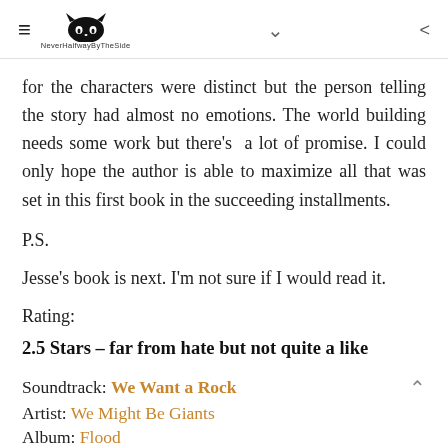NeverHalfwayByTheSide blog header with hamburger menu, cat logo, dropdown chevron, and share icon
for the characters were distinct but the person telling the story had almost no emotions. The world building needs some work but there's a lot of promise. I could only hope the author is able to maximize all that was set in this first book in the succeeding installments.
P.S.
Jesse's book is next. I'm not sure if I would read it.
Rating:
2.5 Stars – far from hate but not quite a like
Soundtrack: We Want a Rock
Artist: We Might Be Giants
Album: Flood